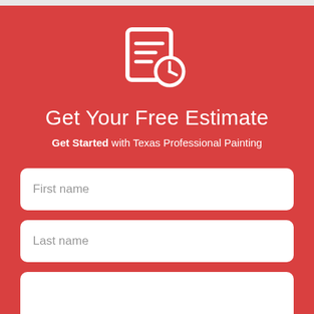[Figure (illustration): White icon of a document/clipboard with lines and a clock overlay, on red background]
Get Your Free Estimate
Get Started with Texas Professional Painting
First name
Last name